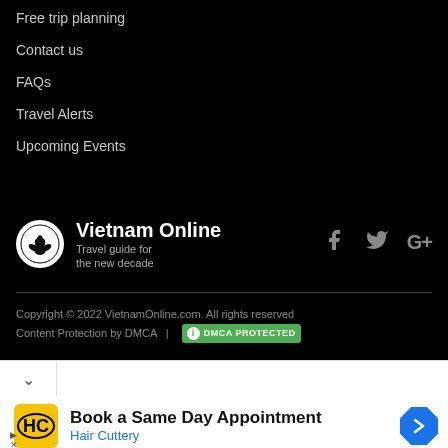Free trip planning
Contact us
FAQs
Travel Alerts
Upcoming Events
Vietnam Online — Travel guide for the new decade
Copyright © 2022 VietnamOnline.com. All rights reserved
Content Protection by DMCA  |  DMCA PROTECTED
Book a Same Day Appointment
Hair Cuttery